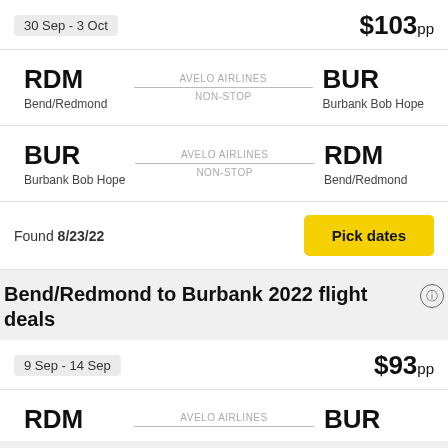30 Sep - 3 Oct
$103pp
RDM Bend/Redmond — AVELO AIRLINES NON-STOP — BUR Burbank Bob Hope
BUR Burbank Bob Hope — AVELO AIRLINES NON-STOP — RDM Bend/Redmond
Found 8/23/22
Pick dates
Bend/Redmond to Burbank 2022 flight deals
9 Sep - 14 Sep
$93pp
RDM — AVELO AIRLINES — BUR